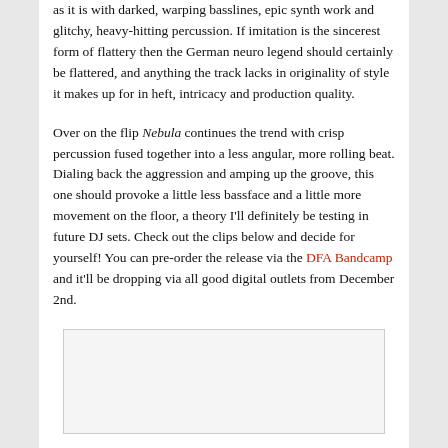as it is with darked, warping basslines, epic synth work and glitchy, heavy-hitting percussion. If imitation is the sincerest form of flattery then the German neuro legend should certainly be flattered, and anything the track lacks in originality of style it makes up for in heft, intricacy and production quality.
Over on the flip Nebula continues the trend with crisp percussion fused together into a less angular, more rolling beat. Dialing back the aggression and amping up the groove, this one should provoke a little less bassface and a little more movement on the floor, a theory I'll definitely be testing in future DJ sets. Check out the clips below and decide for yourself! You can pre-order the release via the DFA Bandcamp and it'll be dropping via all good digital outlets from December 2nd.
[Figure (other): Embedded media player or content box, light gray background with border]